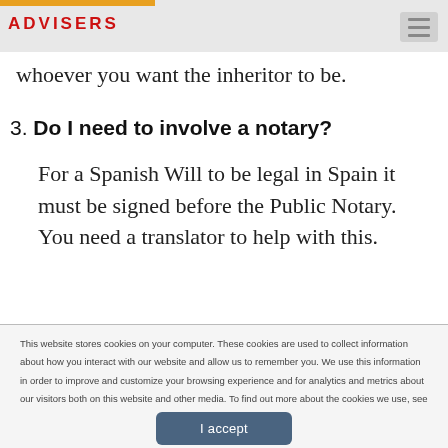ADVISERS
whoever you want the inheritor to be.
3. Do I need to involve a notary?
For a Spanish Will to be legal in Spain it must be signed before the Public Notary. You need a translator to help with this.
This website stores cookies on your computer. These cookies are used to collect information about how you interact with our website and allow us to remember you. We use this information in order to improve and customize your browsing experience and for analytics and metrics about our visitors both on this website and other media. To find out more about the cookies we use, see our Cookie Policy.
I accept